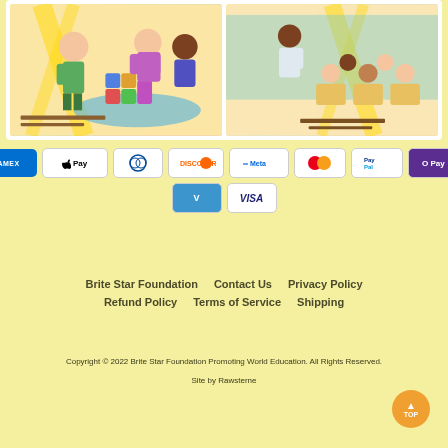[Figure (illustration): Two cartoon children's book covers side by side showing illustrated children playing with blocks and in a classroom]
[Figure (infographic): Payment method icons row 1: AMEX, Apple Pay, Diners Club, Discover, Meta, Mastercard, PayPal, O Pay]
[Figure (infographic): Payment method icons row 2: Venmo, Visa]
Brite Star Foundation   Contact Us   Privacy Policy   Refund Policy   Terms of Service   Shipping
Copyright © 2022 Brite Star Foundation Promoting World Education. All Rights Reserved.
Site by Rawsterne